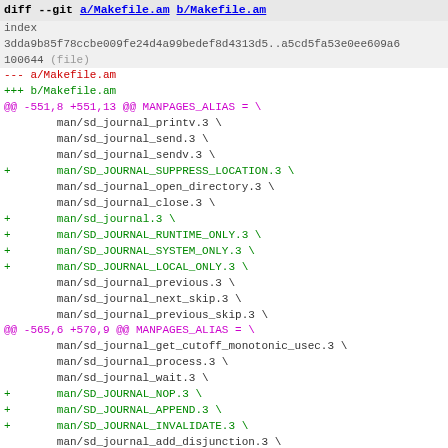diff --git a/Makefile.am b/Makefile.am
index 3dda9b85f78ccbe009fe24d4a99bedef8d4313d5..a5cd5fa53e0ee609a6
100644 (file)
--- a/Makefile.am
+++ b/Makefile.am
@@ -551,8 +551,13 @@ MANPAGES_ALIAS = \
        man/sd_journal_printv.3 \
        man/sd_journal_send.3 \
        man/sd_journal_sendv.3 \
+       man/SD_JOURNAL_SUPPRESS_LOCATION.3 \
        man/sd_journal_open_directory.3 \
        man/sd_journal_close.3 \
+       man/sd_journal.3 \
+       man/SD_JOURNAL_RUNTIME_ONLY.3 \
+       man/SD_JOURNAL_SYSTEM_ONLY.3 \
+       man/SD_JOURNAL_LOCAL_ONLY.3 \
        man/sd_journal_previous.3 \
        man/sd_journal_next_skip.3 \
        man/sd_journal_previous_skip.3 \
@@ -565,6 +570,9 @@ MANPAGES_ALIAS = \
        man/sd_journal_get_cutoff_monotonic_usec.3 \
        man/sd_journal_process.3 \
        man/sd_journal_wait.3 \
+       man/SD_JOURNAL_NOP.3 \
+       man/SD_JOURNAL_APPEND.3 \
+       man/SD_JOURNAL_INVALIDATE.3 \
        man/sd_journal_add_disjunction.3 \
        man/sd_journal_flush_matches.3 \
        man/sd_journal_seek_tail.3 \